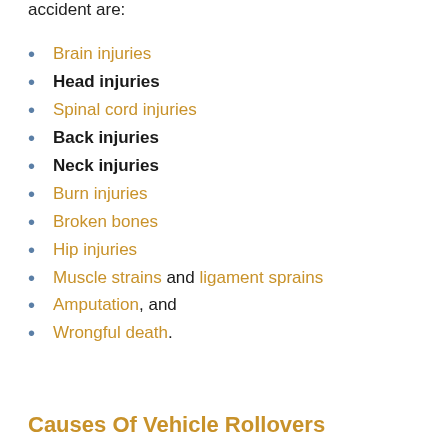accident are:
Brain injuries
Head injuries
Spinal cord injuries
Back injuries
Neck injuries
Burn injuries
Broken bones
Hip injuries
Muscle strains and ligament sprains
Amputation, and
Wrongful death.
Causes Of Vehicle Rollovers